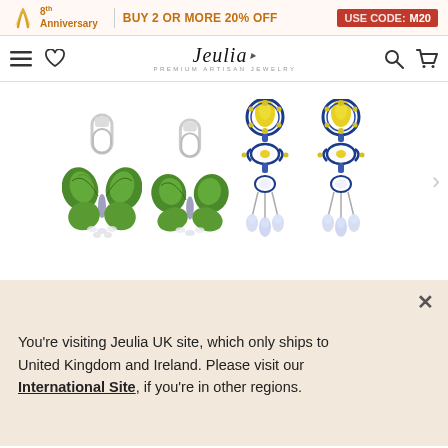8th Anniversary | BUY 2 OR MORE 20% OFF | USE CODE: M20
[Figure (logo): Jeulia logo with text 'PREMIUM ARTISAN JEWELRY' and navigation icons]
[Figure (photo): Two pairs of earrings: green butterfly enamel earrings on the left, and blue/yellow crystal chandelier drop earrings on the right]
You're visiting Jeulia UK site, which only ships to United Kingdom and Ireland. Please visit our International Site, if you're in other regions.